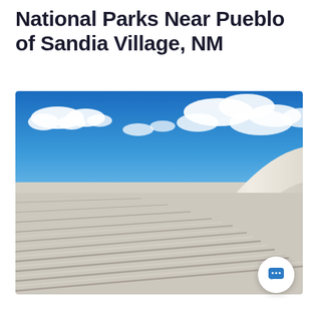National Parks Near Pueblo of Sandia Village, NM
[Figure (photo): White sand dunes with rippled texture under a bright blue sky with white clouds. A large smooth white sand dune rises on the right side, contrasting with the deeply ribbed parallel ridges of sand in the foreground. Likely White Sands National Park, New Mexico.]